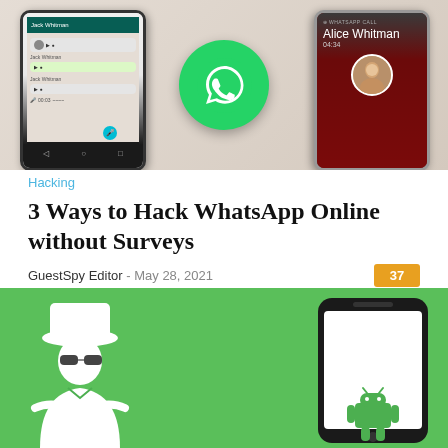[Figure (illustration): WhatsApp promotional image showing two phone screenshots and the WhatsApp logo (green phone icon in speech bubble) in the center, on a beige background.]
Hacking
3 Ways to Hack WhatsApp Online without Surveys
GuestSpy Editor  -  May 28, 2021  [37]
[Figure (illustration): Green background with a white spy/hacker figure in a hat and sunglasses on the left, and a black Android phone mockup on the right with a small Android robot at the bottom.]